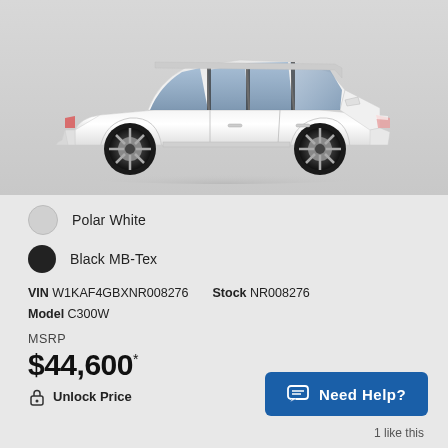[Figure (photo): Side profile view of a white Mercedes-Benz C-Class sedan (C300W) on a light gray background]
Polar White
Black MB-Tex
VIN W1KAF4GBXNR008276   Stock NR008276
Model C300W
MSRP
$44,600*
Unlock Price
Need Help?
1 like this